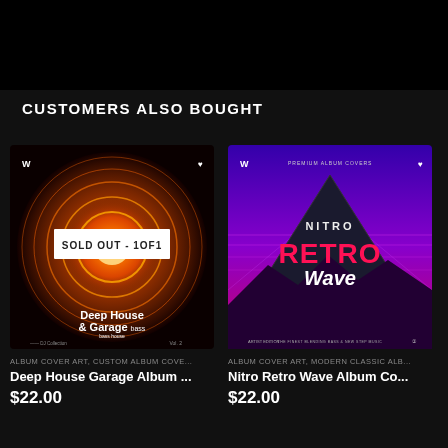CUSTOMERS ALSO BOUGHT
[Figure (photo): Album cover art for Deep House & Garage bass house DJ Collection Vol. 2, dark tunnel with orange lights, with SOLD OUT - 1OF1 badge overlay]
ALBUM COVER ART, CUSTOM ALBUM COVE...
Deep House Garage Album ...
$22.00
[Figure (photo): Album cover art for Nitro Retro Wave, synthwave style with triangle, palm trees, pink/purple neon laser grid background]
ALBUM COVER ART, MODERN CLASSIC ALB...
Nitro Retro Wave Album Co...
$22.00